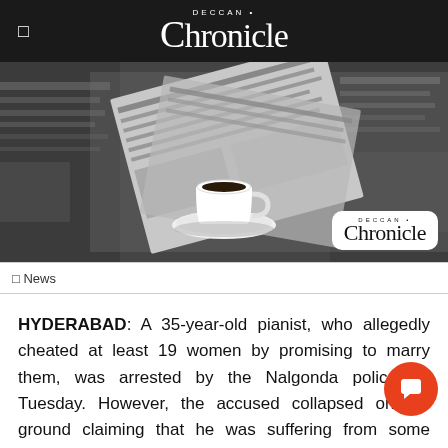Deccan Chronicle
[Figure (photo): Black and white photo of newspapers spread on a table with a white coffee cup on a saucer in the center. A Deccan Chronicle watermark logo appears in the bottom right corner of the image.]
News
HYDERABAD: A 35-year-old pianist, who allegedly cheated at least 19 women by promising to marry them, was arrested by the Nalgonda police on Tuesday. However, the accused collapsed on the ground claiming that he was suffering from some cardiac issues when the police took him into custody. The police shifted him to a hospital for medical assistance.